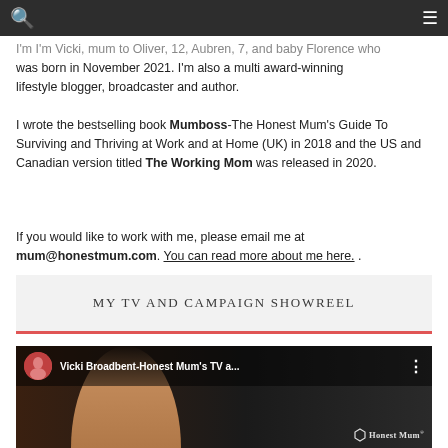navigation bar with search and menu icons
I'm I'm Vicki, mum to Oliver, 12, Aubren, 7, and baby Florence who was born in November 2021. I'm also a multi award-winning lifestyle blogger, broadcaster and author.
I wrote the bestselling book Mumboss-The Honest Mum's Guide To Surviving and Thriving at Work and at Home (UK) in 2018 and the US and Canadian version titled The Working Mom was released in 2020.
If you would like to work with me, please email me at mum@honestmum.com. You can read more about me here. .
MY TV AND CAMPAIGN SHOWREEL
[Figure (screenshot): YouTube video thumbnail showing Vicki Broadbent-Honest Mum's TV and campaign showreel, with channel avatar, video title, three-dot menu, and a woman smiling in the foreground with Honest Mum logo]